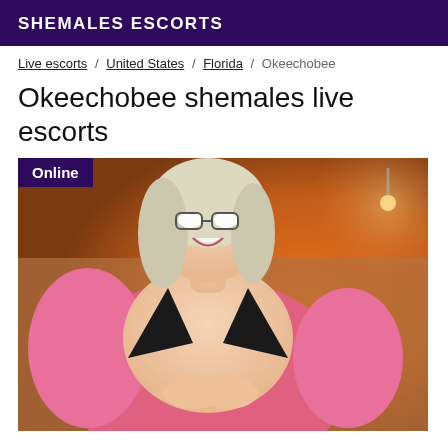SHEMALES ESCORTS
Live escorts / United States / Florida / Okeechobee
Okeechobee shemales live escorts
[Figure (photo): Person wearing pink ruffled wrap and black bikini top, smiling, indoors with warm orange lighting. 'Online' badge in upper left corner.]